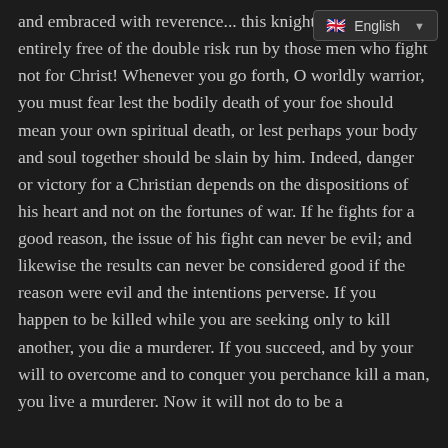and embraced with reverence... this knighthood and how entirely free of the double risk run by those men who fight not for Christ! Whenever you go forth, O worldly warrior, you must fear lest the bodily death of your foe should mean your own spiritual death, or lest perhaps your body and soul together should be slain by him. Indeed, danger or victory for a Christian depends on the dispositions of his heart and not on the fortunes of war. If he fights for a good reason, the issue of his fight can never be evil; and likewise the results can never be considered good if the reason were evil and the intentions perverse. If you happen to be killed while you are seeking only to kill another, you die a murderer. If you succeed, and by your will to overcome and to conquer you perchance kill a man, you live a murderer. Now it will not do to be a